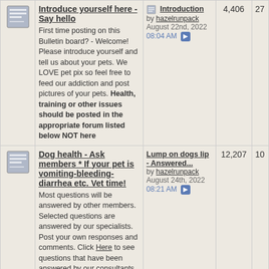| Icon | Forum | Last Post | Stats |  |
| --- | --- | --- | --- | --- |
| [icon] | Introduce yourself here - Say hello
First time posting on this Bulletin board? - Welcome! Please introduce yourself and tell us about your pets. We LOVE pet pix so feel free to feed our addiction and post pictures of your pets. Health, training or other issues should be posted in the appropriate forum listed below NOT here | Introduction
by hazelrunpack
August 22nd, 2022 08:04 AM | 4,406 | 27 |
| [icon] | Dog health - Ask members * If your pet is vomiting-bleeding-diarrhea etc. Vet time!
Most questions will be answered by other members. Selected questions are answered by our specialists. Post your own responses and comments. Click Here to see questions that have been answered by our consultants.
Sub-Forums: Puppy health, Senior dogs | Lump on dogs lip - Answered...
by hazelrunpack
August 24th, 2022 08:21 AM | 12,207 | 10 |